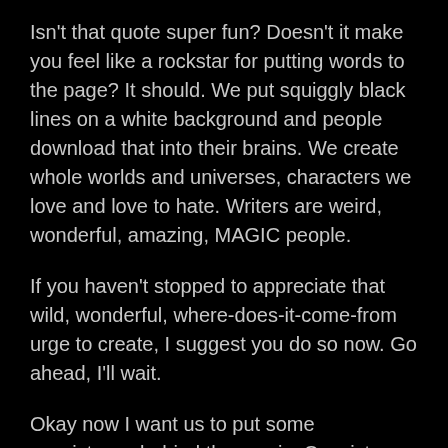Isn't that quote super fun? Doesn't it make you feel like a rockstar for putting words to the page? It should. We put squiggly black lines on a white background and people download that into their brains. We create whole worlds and universes, characters we love and love to hate. Writers are weird, wonderful, amazing, MAGIC people.
If you haven't stopped to appreciate that wild, wonderful, where-does-it-come-from urge to create, I suggest you do so now. Go ahead, I'll wait.
Okay now I want us to put some consistency behind the magic. Consistency is the vehicle that will drive your magic to it's final destination, in printed (or e-printed form) and into the hands of someone who will be just lit from within, just set ablaze by the words you've written.